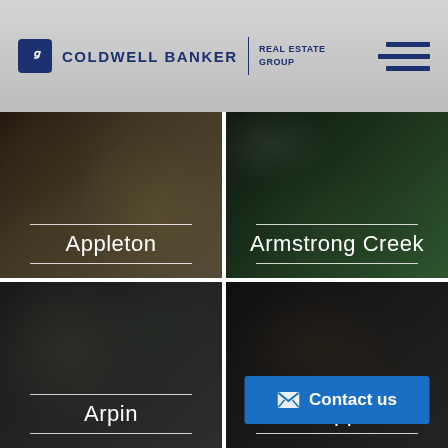[Figure (logo): Coldwell Banker Real Estate Group logo with hamburger menu icon]
[Figure (photo): Photo card for Appleton location with dark overlay and white text]
[Figure (photo): Photo card for Armstrong Creek location with dark overlay and white text]
[Figure (photo): Photo card for Arpin location with dark overlay and white text]
[Figure (photo): Photo card for Ashippun location with dark overlay, white text, and Contact us button]